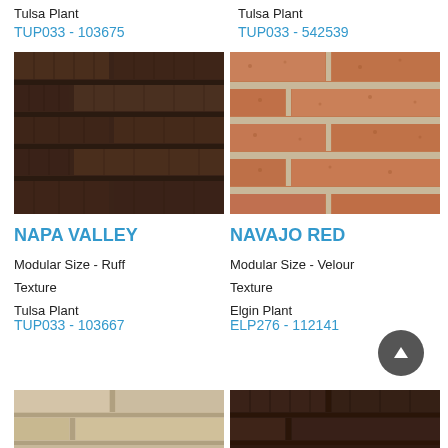Tulsa Plant
TUP033 - 103675
Tulsa Plant
TUP033 - 542539
[Figure (photo): Dark brown/charcoal brick texture - Napa Valley]
[Figure (photo): Red-orange brick texture - Navajo Red]
NAPA VALLEY
NAVAJO RED
Modular Size - Ruff Texture
Tulsa Plant
TUP033 - 103667
Modular Size - Velour Texture
Elgin Plant
ELP276 - 112141
[Figure (photo): Tan/beige brick texture bottom partial]
[Figure (photo): Dark brick texture bottom partial]